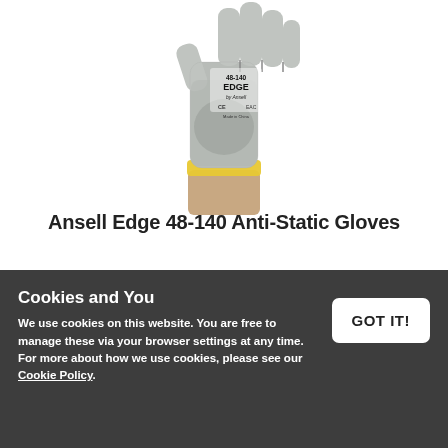[Figure (photo): A hand wearing an Ansell Edge 48-140 anti-static glove. The glove is grey with a textured palm coating and a yellow wrist band. The label on the back reads '48-140 EDGE by Ansell' with CE and EAC certification marks. Made in China. The wrist/lower arm of the wearer is visible below the cuff.]
Ansell Edge 48-140 Anti-Static Gloves
Cookies and You
We use cookies on this website. You are free to manage these via your browser settings at any time. For more about how we use cookies, please see our Cookie Policy.
GOT IT!